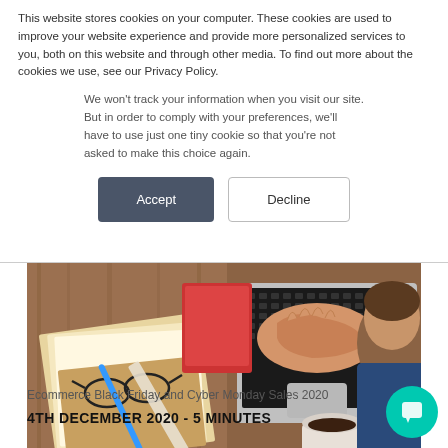This website stores cookies on your computer. These cookies are used to improve your website experience and provide more personalized services to you, both on this website and through other media. To find out more about the cookies we use, see our Privacy Policy.
We won't track your information when you visit our site. But in order to comply with your preferences, we'll have to use just one tiny cookie so that you're not asked to make this choice again.
Accept
Decline
[Figure (photo): Person working on a laptop with coffee, books, glasses, ruler, and pen on a desk viewed from above]
Ecommerce Black Friday and Cyber Monday Sales 2020
4TH DECEMBER 2020 - 5 MINUTES